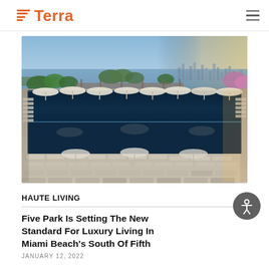Terra
[Figure (photo): Aerial view of a luxury resort pool area with lounge chairs and umbrellas, overlooking a bay with a city skyline in the background at sunset. Lush tropical greenery surrounds the pool deck.]
HAUTE LIVING
Five Park Is Setting The New Standard For Luxury Living In Miami Beach's South Of Fifth
JANUARY 12, 2023